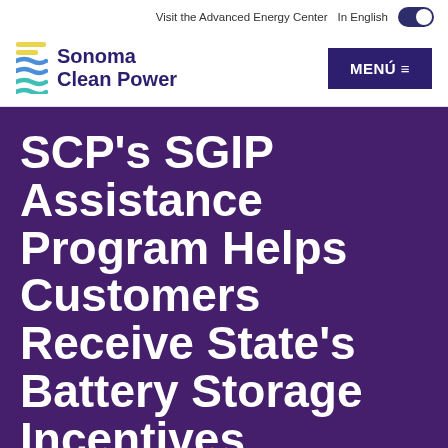Visit the Advanced Energy Center   In English
[Figure (logo): Sonoma Clean Power logo with colored horizontal lines (yellow, blue, teal) and bold dark purple text reading 'Sonoma Clean Power']
MENÚ ≡
SCP's SGIP Assistance Program Helps Customers Receive State's Battery Storage Incentives